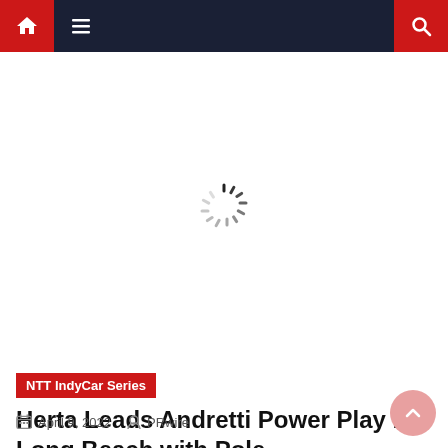Navigation bar with home, menu, and search icons
[Figure (other): Loading spinner animation (circular dashed spinner icon) centered in a white content area]
NTT IndyCar Series
Herta Leads Andretti Power Play in Long Beach with Pole
April 9, 2022   PRwire